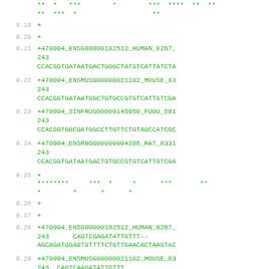**  *   ***        *        ***  ****  **  **
**  ***  *                   **
8.19  +
8.20  +
8.21  +470004_ENSG00000182512_HUMAN_8267_
243
CCACGGTGATAATGACTGGGCTATGTCATTATCTA
8.22  +470004_ENSMUSG00000021102_MOUSE_83
243
CCACGGTGATAATGGCTGTGCCGTGTCATTGTCGA
8.23  +470004_SINFRUG00000145950_FUGU_591
243
CCACGGTGGCGATGGCCTTGTTCTGTAGCCATCGC
8.24  +470004_ENSRNOG00000004206_RAT_8331
243
CCACGGTGATAATGACTGTGCCGTGTCATTGTCGA
8.25  +
********     ***  *     *      ***       **
*        *      *      *
8.26  +
8.27  +
8.28  +470004_ENSG00000182512_HUMAN_8267_
243      CAGTCGAGATATTGTTT--
AGCAGATGGAGTGTTTTCTGTTGAACACTAAGTAC
8.29  +470004_ENSMUSG00000021102_MOUSE_83
243  CAGTCAAGATATTGTTT